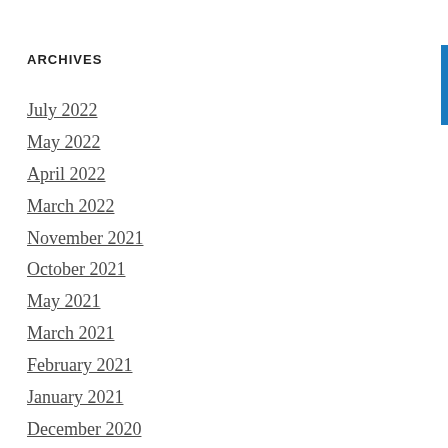ARCHIVES
July 2022
May 2022
April 2022
March 2022
November 2021
October 2021
May 2021
March 2021
February 2021
January 2021
December 2020
October 2020
March 2020
February 2020
July 2019